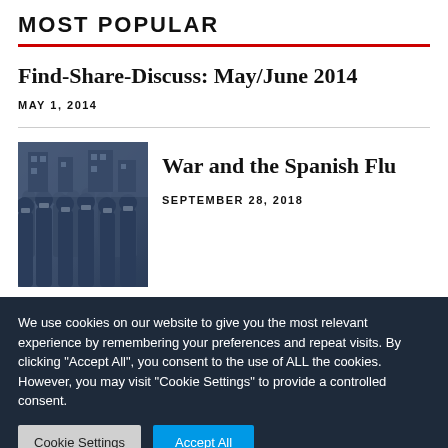MOST POPULAR
Find-Share-Discuss: May/June 2014
MAY 1, 2014
[Figure (photo): Black and white / blue-tinted historical photo of soldiers wearing masks, marching in a group]
War and the Spanish Flu
SEPTEMBER 28, 2018
We use cookies on our website to give you the most relevant experience by remembering your preferences and repeat visits. By clicking "Accept All", you consent to the use of ALL the cookies. However, you may visit "Cookie Settings" to provide a controlled consent.